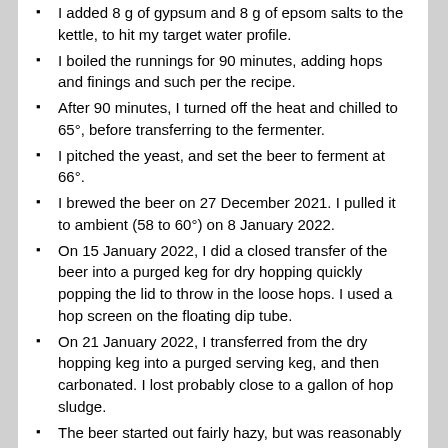I added 8 g of gypsum and 8 g of epsom salts to the kettle, to hit my target water profile.
I boiled the runnings for 90 minutes, adding hops and finings and such per the recipe.
After 90 minutes, I turned off the heat and chilled to 65°, before transferring to the fermenter.
I pitched the yeast, and set the beer to ferment at 66°.
I brewed the beer on 27 December 2021. I pulled it to ambient (58 to 60°) on 8 January 2022.
On 15 January 2022, I did a closed transfer of the beer into a purged keg for dry hopping quickly popping the lid to throw in the loose hops. I used a hop screen on the floating dip tube.
On 21 January 2022, I transferred from the dry hopping keg into a purged serving keg, and then carbonated. I lost probably close to a gallon of hop sludge.
The beer started out fairly hazy, but was reasonably clear within a few weeks.
Starting gravity was 1.070, and final gravity was 1.013, for 7.7% abv.